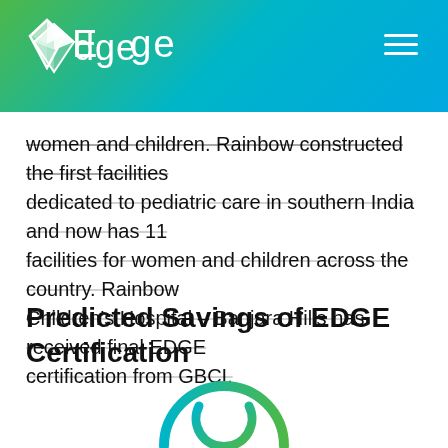Edge
women and children. Rainbow constructed the first facilities dedicated to pediatric care in southern India and now has 11 facilities for women and children across the country. Rainbow Children's Hospital – Banjara Hills has received final EDGE certification from GBCI.
Predicted Savings of EDGE Certification
[Figure (illustration): Power/energy icon — a circular ring with a power symbol (vertical bar at top, open arc below) rendered in gradient teal to green colors]